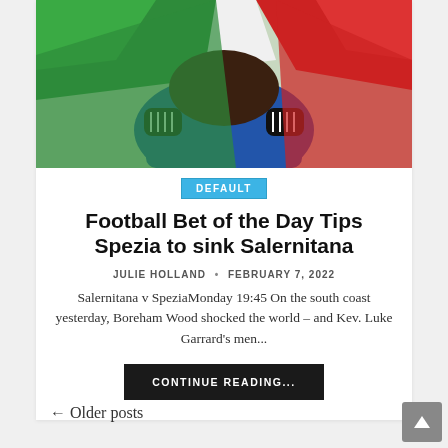[Figure (photo): A person draped in Italian flag colors, wearing blue jacket and black and white gloves, with green, white and red flag fabric visible]
DEFAULT
Football Bet of the Day Tips Spezia to sink Salernitana
JULIE HOLLAND • FEBRUARY 7, 2022
Salernitana v SpeziaMonday 19:45 On the south coast yesterday, Boreham Wood shocked the world – and Kev. Luke Garrard's men...
CONTINUE READING...
← Older posts